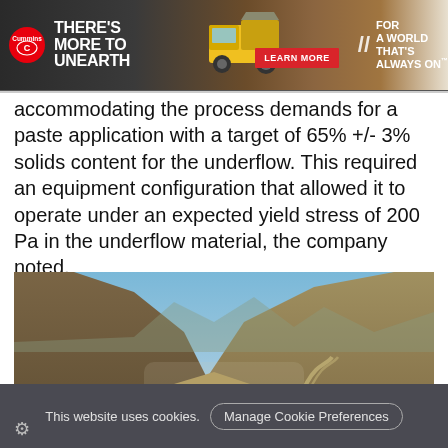[Figure (other): Cummins advertisement banner: dark background with Cummins logo, text 'THERE'S MORE TO UNEARTH', mining truck image, red 'LEARN MORE' button, and 'FOR A WORLD THAT'S ALWAYS ON' tagline]
accommodating the process demands for a paste application with a target of 65% +/- 3% solids content for the underflow. This required an equipment configuration that allowed it to operate under an expected yield stress of 200 Pa in the underflow material, the company noted.
[Figure (photo): Aerial/elevated photograph of a mountainous valley landscape with winding roads, sparse vegetation, rocky terrain and arid hills under a blue sky. Mining infrastructure visible in the lower left.]
This website uses cookies. Manage Cookie Preferences